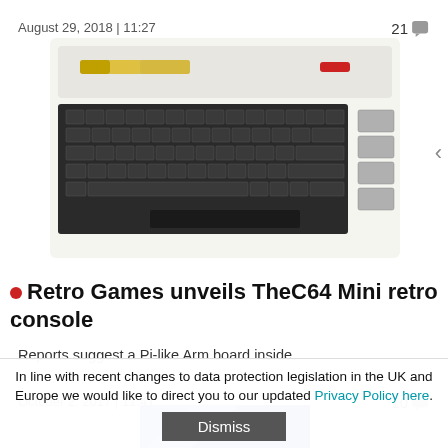August 29, 2018 | 11:27    21
[Figure (photo): Photo of a Commodore 64 style retro computer with keyboard and function keys on the right side]
Retro Games unveils TheC64 Mini retro console
Reports suggest a Pi-like Arm board inside.
October 2, 2017 | 11:41    10
[Figure (photo): Partial view of a blue logo or image, cropped]
In line with recent changes to data protection legislation in the UK and Europe we would like to direct you to our updated Privacy Policy here.